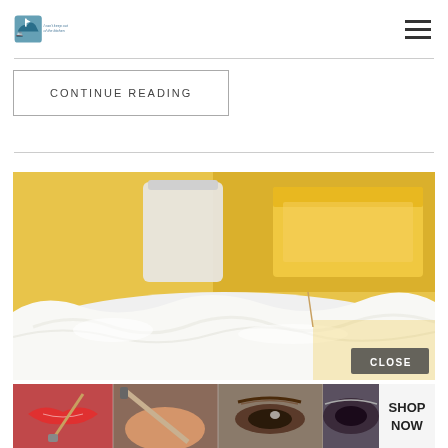Blog logo and hamburger menu navigation
CONTINUE READING
[Figure (photo): Close-up food photo showing a slice of cake or dessert with white cream/frosting on top, yellow sponge cake visible in background, warm golden background]
[Figure (infographic): ULTA beauty advertisement banner with makeup imagery including red lips with brush, eyeshadow brush, eye makeup, ULTA logo, and eye close-up with 'SHOP NOW' call to action]